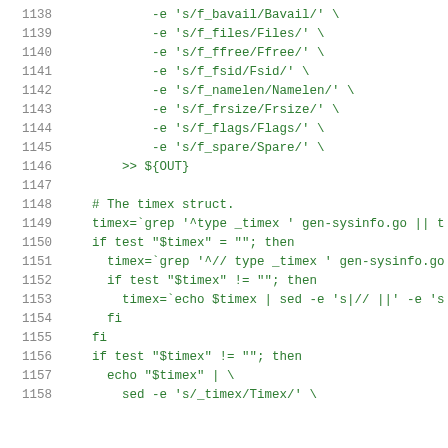1138    -e 's/f_bavail/Bavail/' \
1139    -e 's/f_files/Files/' \
1140    -e 's/f_ffree/Ffree/' \
1141    -e 's/f_fsid/Fsid/' \
1142    -e 's/f_namelen/Namelen/' \
1143    -e 's/f_frsize/Frsize/' \
1144    -e 's/f_flags/Flags/' \
1145    -e 's/f_spare/Spare/' \
1146    >> ${OUT}
1147
1148    # The timex struct.
1149    timex=`grep '^type _timex ' gen-sysinfo.go || t
1150    if test "$timex" = ""; then
1151      timex=`grep '^// type _timex ' gen-sysinfo.go
1152      if test "$timex" != ""; then
1153        timex=`echo $timex | sed -e 's|// ||' -e 's
1154      fi
1155    fi
1156    if test "$timex" != ""; then
1157      echo "$timex" | \
1158        sed -e 's/_timex/Timex/' \